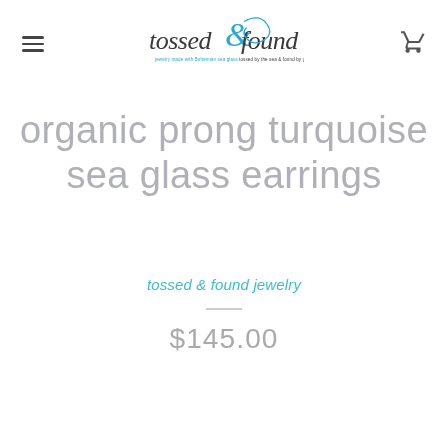tossed & found jewelry — navigation header with logo and cart
organic prong turquoise sea glass earrings
tossed & found jewelry
$145.00